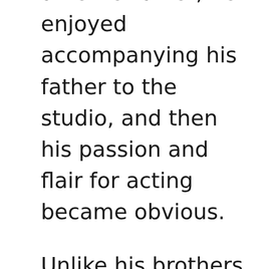an entertainer, he enjoyed accompanying his father to the studio, and then his passion and flair for acting became obvious.
Unlike his brothers, Sam first chose to showcase his talents through social media.
His content which he posted on photos and video sharing platform Instagram and microblogging